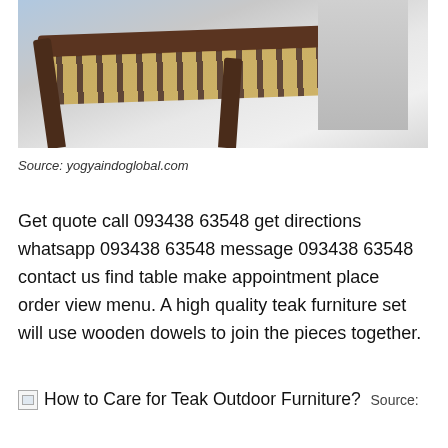[Figure (photo): Partial view of a teak wood chair with dark brown wooden frame and slatted seat, photographed from above on a light background]
Source: yogyaindoglobal.com
Get quote call 093438 63548 get directions whatsapp 093438 63548 message 093438 63548 contact us find table make appointment place order view menu. A high quality teak furniture set will use wooden dowels to join the pieces together.
How to Care for Teak Outdoor Furniture?  Source: homedecorideastips.com